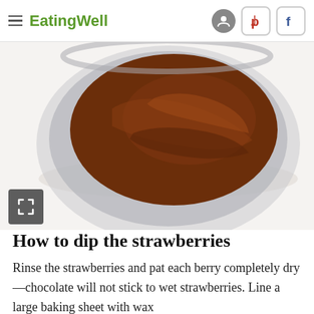EatingWell
[Figure (photo): Overhead view of a metal bowl with melted chocolate and a spatula, photographed on a white background]
How to dip the strawberries
Rinse the strawberries and pat each berry completely dry—chocolate will not stick to wet strawberries. Line a large baking sheet with wax